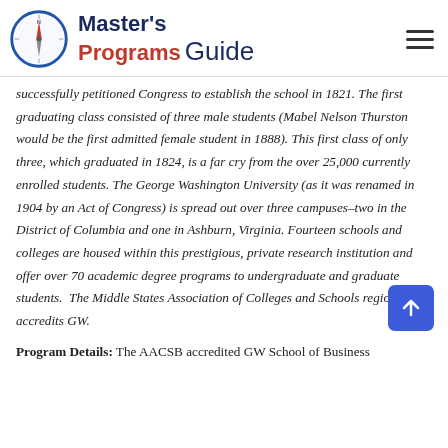Master's Programs Guide
successfully petitioned Congress to establish the school in 1821. The first graduating class consisted of three male students (Mabel Nelson Thurston would be the first admitted female student in 1888). This first class of only three, which graduated in 1824, is a far cry from the over 25,000 currently enrolled students. The George Washington University (as it was renamed in 1904 by an Act of Congress) is spread out over three campuses–two in the District of Columbia and one in Ashburn, Virginia. Fourteen schools and colleges are housed within this prestigious, private research institution and offer over 70 academic degree programs to undergraduate and graduate students. The Middle States Association of Colleges and Schools regionally accredits GW.
Program Details: The AACSB accredited GW School of Business